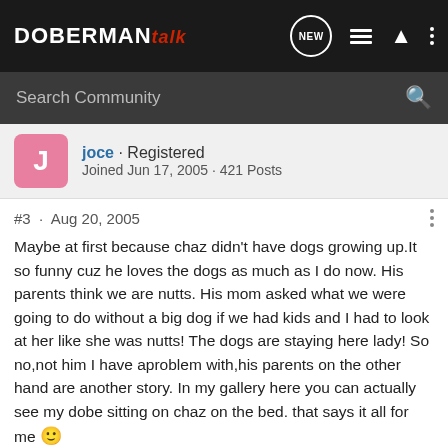DOBERMAN talk
joce · Registered
Joined Jun 17, 2005 · 421 Posts
#3 · Aug 20, 2005
Maybe at first because chaz didn't have dogs growing up.It so funny cuz he loves the dogs as much as I do now. His parents think we are nutts. His mom asked what we were going to do without a big dog if we had kids and I had to look at her like she was nutts! The dogs are staying here lady! So no,not him I have aproblem with,his parents on the other hand are another story. In my gallery here you can actually see my dobe sitting on chaz on the bed. that says it all for me 🙂
He does have an avversion to guinea pigs that I don't really understand. I love the things but he can't stand them.